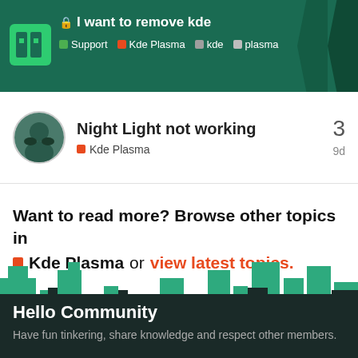I want to remove kde | Support | Kde Plasma | kde | plasma
Night Light not working | Kde Plasma | 3 | 9d
Want to read more? Browse other topics in Kde Plasma or view latest topics.
[Figure (illustration): City skyline silhouette illustration with teal/dark color scheme showing buildings in foreground and background]
Hello Community
Have fun tinkering, share knowledge and respect other members.